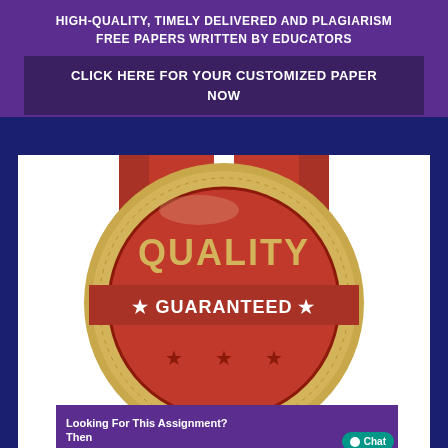HIGH-QUALITY, TIMELY DELIVERED AND PLAGIARISM FREE PAPERS WRITTEN BY EDUCATORS
CLICK HERE FOR YOUR CUSTOMIZED PAPER NOW
[Figure (illustration): Quality Guaranteed badge — a large gold coin/seal with red ribbon banner, showing 'QUALITY' in gold text and '★ GUARANTEED ★' in white text on red background, with three red stars at the bottom of the coin]
[Figure (illustration): Looking For This Assignment? Then order now banner with purple background and a woman figure on the right, plus a teal chat button overlay reading 'Chat']